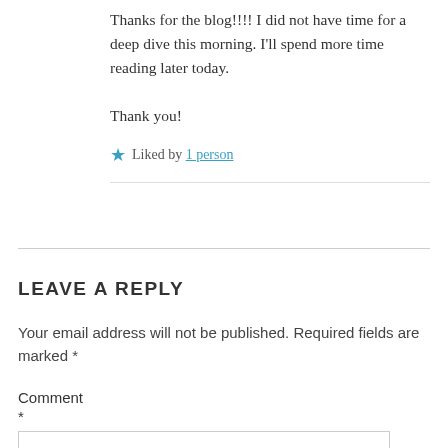Thanks for the blog!!!! I did not have time for a deep dive this morning. I'll spend more time reading later today.

Thank you!
★ Liked by 1 person
LEAVE A REPLY
Your email address will not be published. Required fields are marked *
Comment *